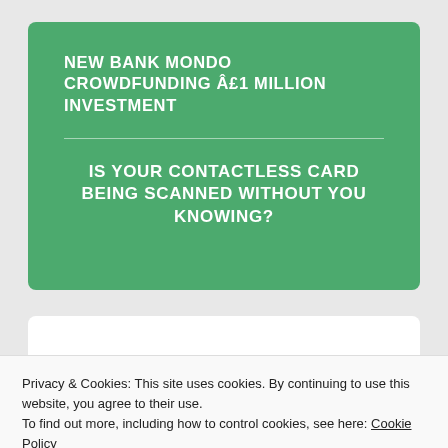NEW BANK MONDO CROWDFUNDING Â£1 MILLION INVESTMENT
IS YOUR CONTACTLESS CARD BEING SCANNED WITHOUT YOU KNOWING?
Privacy & Cookies: This site uses cookies. By continuing to use this website, you agree to their use.
To find out more, including how to control cookies, see here: Cookie Policy
Close and accept
Your email address will not be published. Required